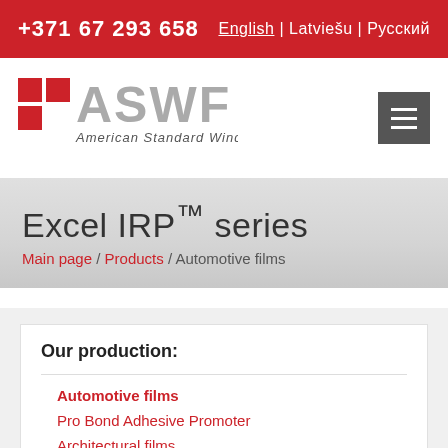+371 67 293 658  English | Latviešu | Русский
[Figure (logo): ASWF American Standard Window Film logo with red grid squares and grey text]
Excel IRP™ series
Main page / Products / Automotive films
Our production:
Automotive films
Pro Bond Adhesive Promoter
Architectural films